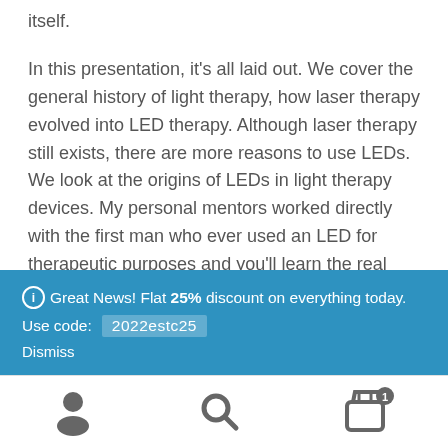itself.
In this presentation, it's all laid out. We cover the general history of light therapy, how laser therapy evolved into LED therapy. Although laser therapy still exists, there are more reasons to use LEDs. We look at the origins of LEDs in light therapy devices. My personal mentors worked directly with the first man who ever used an LED for therapeutic purposes and you'll learn the real history in this presentation.
Great News! Flat 25% discount on everything today. Use code: 2022estc25 Dismiss
[Figure (infographic): Bottom navigation bar with user icon, search icon, and shopping cart icon with badge showing 1]